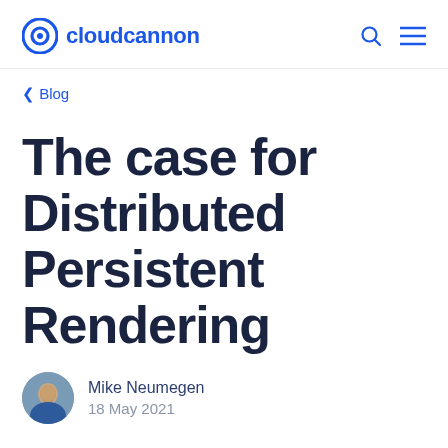cloudcannon
< Blog
The case for Distributed Persistent Rendering
Mike Neumegen
18 May 2021